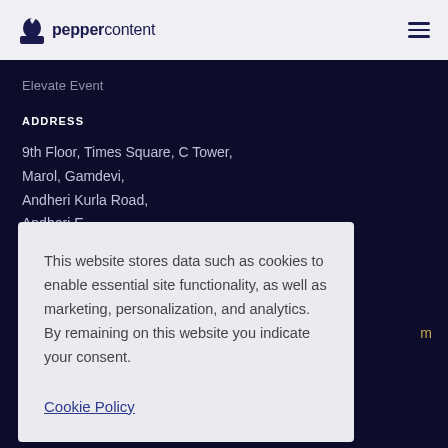peppercontent
Elevate Event
ADDRESS
9th Floor, Times Square, C Tower,
Marol, Gamdevi,
Andheri Kurla Road,
Andheri East...
This website stores data such as cookies to enable essential site functionality, as well as marketing, personalization, and analytics. By remaining on this website you indicate your consent.
Cookie Policy